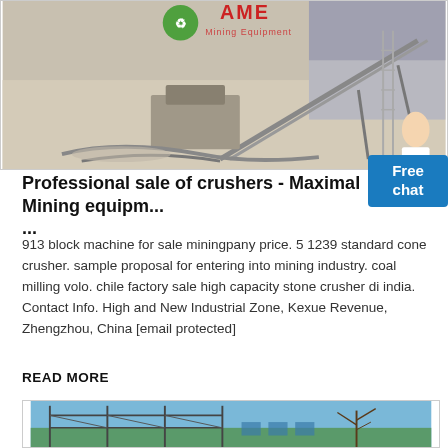[Figure (photo): Outdoor mining/crushing facility with machinery, conveyor belts, sandy/dusty ground. AME Mining Equipment logo visible in red and green at top.]
Professional sale of crushers - Maximal Mining equipm... ...
913 block machine for sale miningpany price. 5 1239 standard cone crusher. sample proposal for entering into mining industry. coal milling volo. chile factory sale high capacity stone crusher di india. Contact Info. High and New Industrial Zone, Kexue Revenue, Zhengzhou, China [email protected]
READ MORE
[Figure (photo): Outdoor scene with industrial scaffolding structure against a blue sky with bare trees visible.]